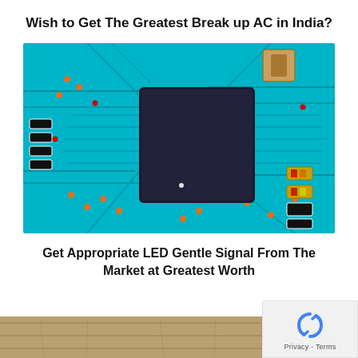Wish to Get The Greatest Break up AC in India?
[Figure (photo): Close-up photograph of a blue PCB (printed circuit board) with a large dark square microchip in the center, surrounded by circuit traces, capacitors, resistors, and electronic components in teal, orange, black, and gold colors.]
Get Appropriate LED Gentle Signal From The Market at Greatest Worth
[Figure (photo): Partial bottom strip showing what appears to be a wooden or textured surface, cropped at the bottom of the page.]
Privacy - Terms